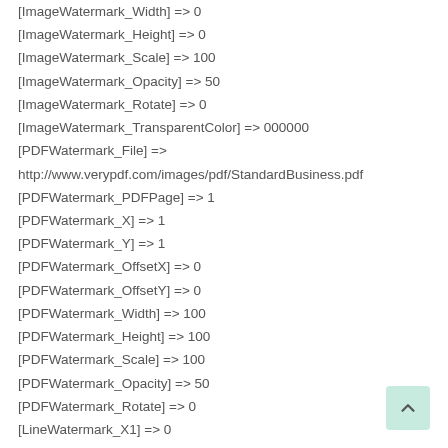[ImageWatermark_Width] => 0
[ImageWatermark_Height] => 0
[ImageWatermark_Scale] => 100
[ImageWatermark_Opacity] => 50
[ImageWatermark_Rotate] => 0
[ImageWatermark_TransparentColor] => 000000
[PDFWatermark_File] => http://www.verypdf.com/images/pdf/StandardBusiness.pdf
[PDFWatermark_PDFPage] => 1
[PDFWatermark_X] => 1
[PDFWatermark_Y] => 1
[PDFWatermark_OffsetX] => 0
[PDFWatermark_OffsetY] => 0
[PDFWatermark_Width] => 100
[PDFWatermark_Height] => 100
[PDFWatermark_Scale] => 100
[PDFWatermark_Opacity] => 50
[PDFWatermark_Rotate] => 0
[LineWatermark_X1] => 0